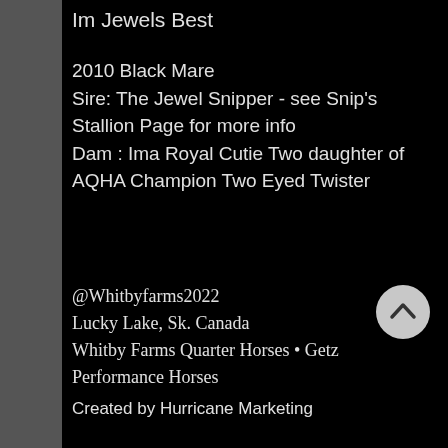Im Jewels Best
2010 Black Mare
Sire: The Jewel Snipper - see Snip's Stallion Page for more info
Dam : Ima Royal Cutie Two daughter of AQHA Champion Two Eyed Twister
@Whitbyfarms2022
Lucky Lake, Sk. Canada
Whitby Farms Quarter Horses • Getz Performance Horses
Created by Hurricane Marketing